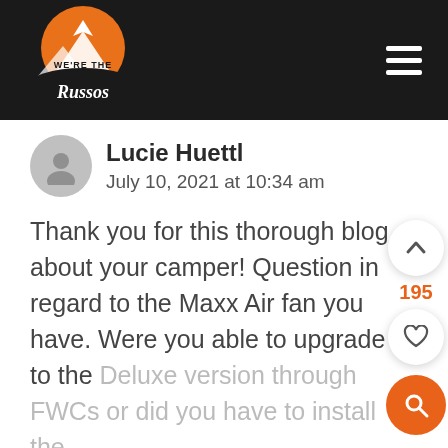We're the Russos — navigation header with logo and hamburger menu
Lucie Huettl
July 10, 2021 at 10:34 am
Thank you for this thorough blog about your camper! Question in regard to the Maxx Air fan you have. Were you able to upgrade to the Deluxe version through FWCs or did you have to install the